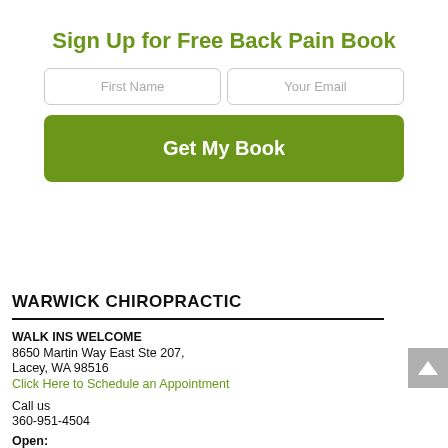Sign Up for Free Back Pain Book
First Name
Your Email
Get My Book
WARWICK CHIROPRACTIC
WALK INS WELCOME
8650 Martin Way East Ste 207,
Lacey, WA 98516
Click Here to Schedule an Appointment
Call us
360-951-4504
Open: